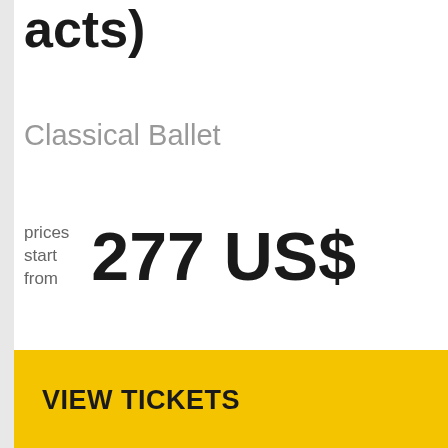acts)
Classical Ballet
prices start from 277 US$
VIEW TICKETS
11 September 19:30